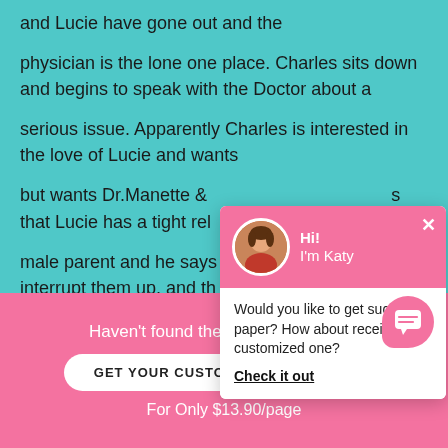and Lucie have gone out and the physician is the lone one place. Charles sits down and begins to speak with the Doctor about a serious issue. Apparently Charles is interested in the love of Lucie and wants but wants Dr.Manette & s that Lucie has a tight rel male parent and he says interrupt them up, and th this will non interfere
[Figure (screenshot): Chat popup with avatar photo of Katy, pink header saying 'Hi! I'm Katy', white body text 'Would you like to get such a paper? How about receiving a customized one?' with a 'Check it out' underlined link. Close X button in top right.]
Haven't found the Essay You Want?
GET YOUR CUSTOM ESSAY SAMPLE
For Only $13.90/page